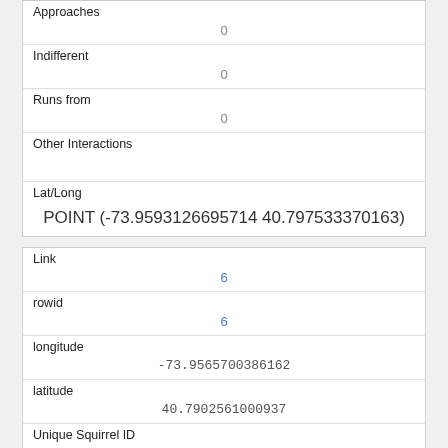| Approaches | 0 |
| Indifferent | 0 |
| Runs from | 0 |
| Other Interactions |  |
| Lat/Long | POINT (-73.9593126695714 40.797533370163) |
| Link | 6 |
| rowid | 6 |
| longitude | -73.9565700386162 |
| latitude | 40.7902561000937 |
| Unique Squirrel ID | 33H-AM-1019-02 |